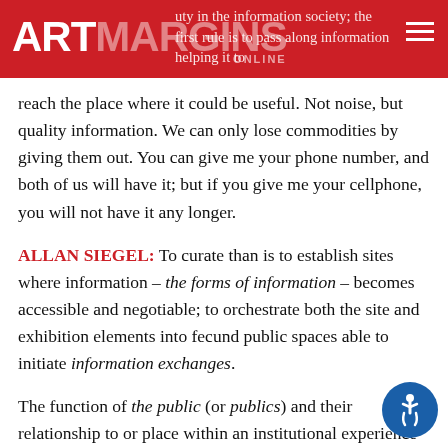ARTMARGINS ONLINE — ...uty in the information society; the first rule is to pass along information helping it to
reach the place where it could be useful. Not noise, but quality information. We can only lose commodities by giving them out. You can give me your phone number, and both of us will have it; but if you give me your cellphone, you will not have it any longer.
ALLAN SIEGEL: To curate than is to establish sites where information – the forms of information – becomes accessible and negotiable; to orchestrate both the site and exhibition elements into fecund public spaces able to initiate information exchanges.
The function of the public (or publics) and their relationship to or place within an institutional experience defines the extended boundaries or areas into which discourses generated by museums or exhibition spaces are disseminated. Functionally, the public is not an amorphous mass of people but rather an ideological construct. Thus within any given society the ... of a public institution can be fulfilled only if there exists a public